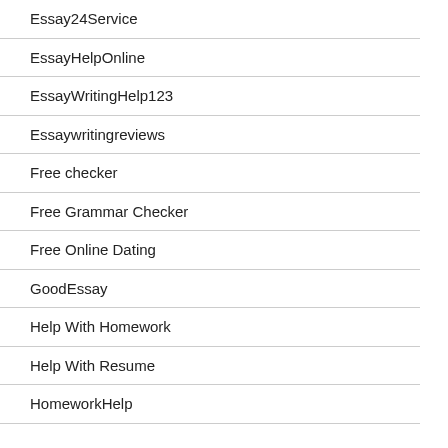Essay24Service
EssayHelpOnline
EssayWritingHelp123
Essaywritingreviews
Free checker
Free Grammar Checker
Free Online Dating
GoodEssay
Help With Homework
Help With Resume
HomeworkHelp